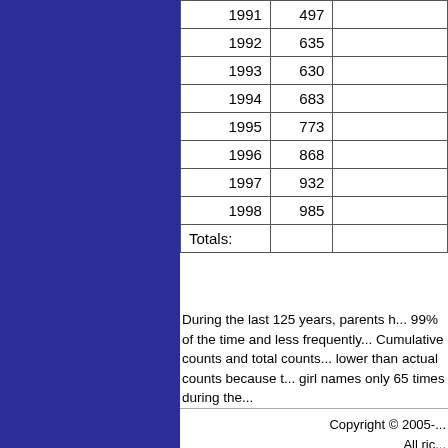| Year | Count |  |
| --- | --- | --- |
| 1991 | 497 |  |
| 1992 | 635 |  |
| 1993 | 630 |  |
| 1994 | 683 |  |
| 1995 | 773 |  |
| 1996 | 868 |  |
| 1997 | 932 |  |
| 1998 | 985 |  |
| Totals: |  |  |
During the last 125 years, parents h... 99% of the time and less frequently... Cumulative counts and total counts... lower than actual counts because t... girl names only 65 times during the...
Copyright © 2005-... All ric...